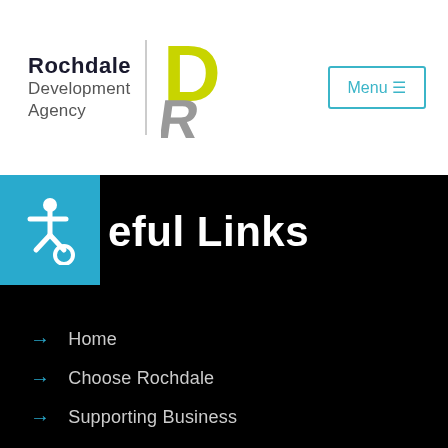[Figure (logo): Rochdale Development Agency logo with yellow and grey R icon and vertical divider]
Useful Links
Home
Choose Rochdale
Supporting Business
Key Sectors
Working & Living
News